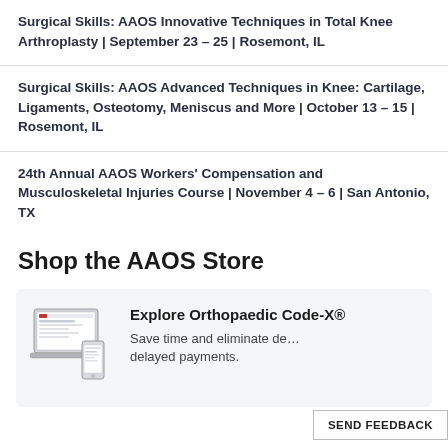Surgical Skills: AAOS Innovative Techniques in Total Knee Arthroplasty | September 23 – 25 | Rosemont, IL
Surgical Skills: AAOS Advanced Techniques in Knee: Cartilage, Ligaments, Osteotomy, Meniscus and More | October 13 – 15 | Rosemont, IL
24th Annual AAOS Workers' Compensation and Musculoskeletal Injuries Course | November 4 – 6 | San Antonio, TX
Shop the AAOS Store
[Figure (illustration): Laptop and smartphone showing Orthopaedic Code-X software interface]
Explore Orthopaedic Code-X®
Save time and eliminate delayed payments.
SEND FEEDBACK